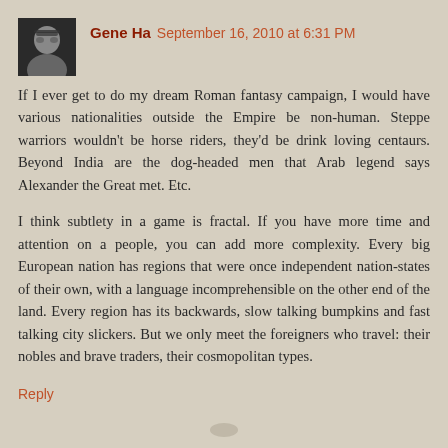Gene Ha  September 16, 2010 at 6:31 PM
If I ever get to do my dream Roman fantasy campaign, I would have various nationalities outside the Empire be non-human. Steppe warriors wouldn't be horse riders, they'd be drink loving centaurs. Beyond India are the dog-headed men that Arab legend says Alexander the Great met. Etc.
I think subtlety in a game is fractal. If you have more time and attention on a people, you can add more complexity. Every big European nation has regions that were once independent nation-states of their own, with a language incomprehensible on the other end of the land. Every region has its backwards, slow talking bumpkins and fast talking city slickers. But we only meet the foreigners who travel: their nobles and brave traders, their cosmopolitan types.
Reply